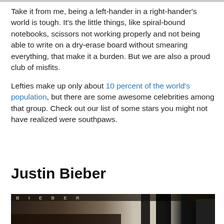Take it from me, being a left-hander in a right-hander's world is tough. It's the little things, like spiral-bound notebooks, scissors not working properly and not being able to write on a dry-erase board without smearing everything, that make it a burden. But we are also a proud club of misfits.
Lefties make up only about 10 percent of the world's population, but there are some awesome celebrities among that group. Check out our list of some stars you might not have realized were southpaws.
Justin Bieber
[Figure (photo): Photo of people at what appears to be a Justin Bieber event or merchandise display, with 'BIEBER' text visible in background and large graphic elements.]